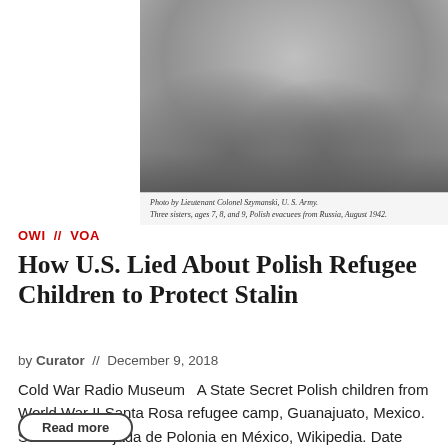[Figure (photo): Black and white photograph of three young sisters, Polish evacuees from Russia, August 1942. Caption reads: Photo by Lieutenant Colonel Szymanski, U.S. Army. Three sisters, ages 7, 8, and 9, Polish evacuees from Russia, August 1942.]
Photo by Lieutenant Colonel Szymanski, U. S. Army.
Three sisters, ages 7, 8, and 9, Polish evacuees from Russia, August 1942.
OWI  //  VOA
How U.S. Lied About Polish Refugee Children to Protect Stalin
by Curator  //  December 9, 2018
Cold War Radio Museum   A State Secret Polish children from World War II Santa Rosa refugee camp, Guanajuato, Mexico. Source: Embajada de Polonia en México, Wikipedia. Date and photographer are unknown. CC BY 3.0.   How the Roosevelt…